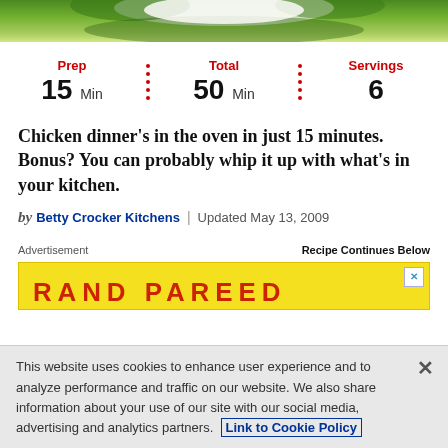[Figure (photo): Top portion of a food photo showing green vegetables on a plate]
Prep 15 Min | Total 50 Min | Servings 6
Chicken dinner's in the oven in just 15 minutes. Bonus? You can probably whip it up with what's in your kitchen.
by Betty Crocker Kitchens | Updated May 13, 2009
Advertisement
Recipe Continues Below
[Figure (screenshot): Yellow advertisement banner with red text partially visible]
This website uses cookies to enhance user experience and to analyze performance and traffic on our website. We also share information about your use of our site with our social media, advertising and analytics partners. Link to Cookie Policy